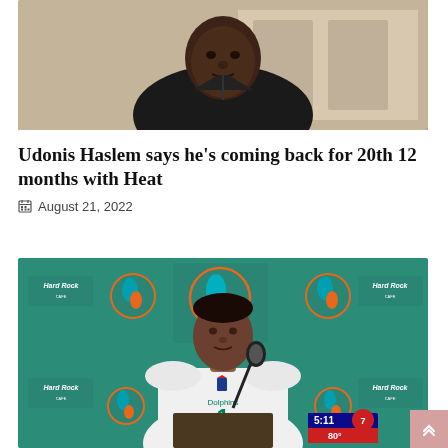[Figure (photo): Photo of Udonis Haslem, a man in a black polo shirt, cropped from shoulders up, appearing to speak or be interviewed in an indoor setting.]
Udonis Haslem says he’s coming back for 20th 12 months with Heat
August 21, 2022
[Figure (photo): Photo of Miami Dolphins quarterback Tua Tagovailoa wearing a white Dolphins jersey number 1 at a press conference podium with Hard Rock and Miami Dolphins logos on the backdrop. A TV station bug showing 5:11 and 80° is visible in the lower right corner.]